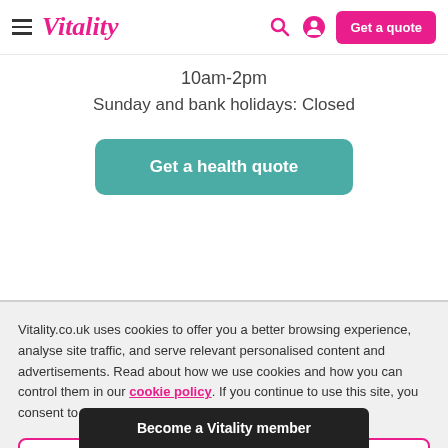Vitality — Get a quote
10am-2pm
Sunday and bank holidays: Closed
Get a health quote
Vitality.co.uk uses cookies to offer you a better browsing experience, analyse site traffic, and serve relevant personalised content and advertisements. Read about how we use cookies and how you can control them in our cookie policy. If you continue to use this site, you consent to use our use of cookies.
Accept cookies
Become a Vitality member